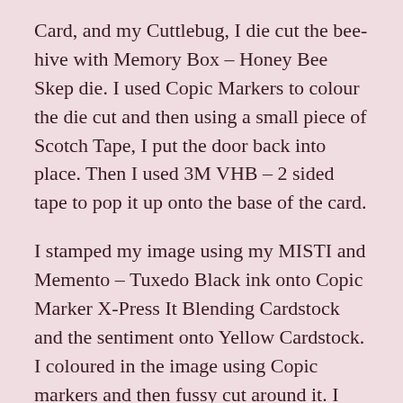Card, and my Cuttlebug, I die cut the bee-hive with Memory Box – Honey Bee Skep die. I used Copic Markers to colour the die cut and then using a small piece of Scotch Tape, I put the door back into place. Then I used 3M VHB – 2 sided tape to pop it up onto the base of the card.
I stamped my image using my MISTI and Memento – Tuxedo Black ink onto Copic Marker X-Press It Blending Cardstock and the sentiment onto Yellow Cardstock. I coloured in the image using Copic markers and then fussy cut around it. I used a black marker to go around all of the edges of the coloured image. Using my cutter, I cut around the sentiment and then ink around all of the edges using Tim Holtz Distress Ink – Wild Honey. Using 3M VHB – 2 sided tape, I attached the coloured image and sentiment to